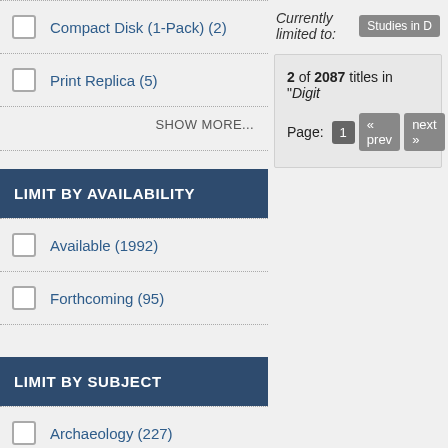Compact Disk (1-Pack) (2)
Print Replica (5)
SHOW MORE...
LIMIT BY AVAILABILITY
Available (1992)
Forthcoming (95)
LIMIT BY SUBJECT
Archaeology (227)
Cultural Studies (222)
Currently limited to: Studies in D
2 of 2087 titles in "Digit
Page: 1 « prev next »